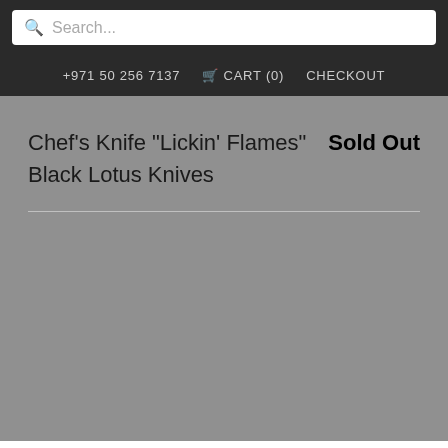Search...
+971 50 256 7137  CART (0)  CHECKOUT
Chef's Knife "Lickin' Flames" Black Lotus Knives
Sold Out